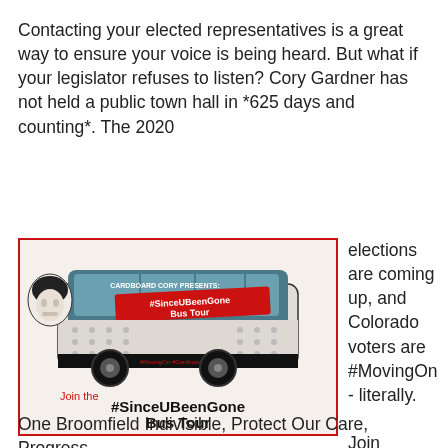Contacting your elected representatives is a great way to ensure your voice is being heard. But what if your legislator refuses to listen? Cory Gardner has not held a public town hall in *625 days and counting*. The 2020 elections are coming up, and Colorado voters are #MovingOn - literally.
[Figure (illustration): Image of a bus labeled '#SinceUBeenGone Bus Tour' with text 'Join the #SinceUBeenGone Bus Tour', 'Touring Colorado because Senator Gardner won't', '#MovingOn #CardboardCoryBusTour2019'. Cardboard Cory Presents branding. Red border around image.]
Join Indivisible Front Range Resistance, One Broomfield Indivisible, Protect Our Care, Progress Now, Come to the Colorado and more for the